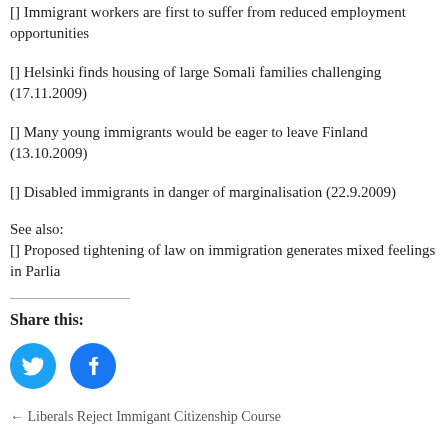[] Immigrant workers are first to suffer from reduced employment opportunities
[] Helsinki finds housing of large Somali families challenging (17.11.2009)
[] Many young immigrants would be eager to leave Finland (13.10.2009)
[] Disabled immigrants in danger of marginalisation (22.9.2009)
See also:
[] Proposed tightening of law on immigration generates mixed feelings in Parlia
Share this:
[Figure (illustration): Twitter and Facebook share icon buttons (blue circles with white icons)]
← Liberals Reject Immigant Citizenship Course